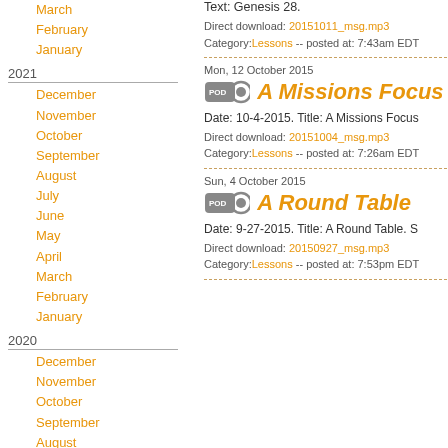March
February
January
2021
December
November
October
September
August
July
June
May
April
March
February
January
2020
December
November
October
September
August
July
June
May
April
March
February
January
Text: Genesis 28.
Direct download: 20151011_msg.mp3
Category:Lessons -- posted at: 7:43am EDT
Mon, 12 October 2015
A Missions Focus
Date: 10-4-2015. Title: A Missions Focus
Direct download: 20151004_msg.mp3
Category:Lessons -- posted at: 7:26am EDT
Sun, 4 October 2015
A Round Table
Date: 9-27-2015. Title: A Round Table. S
Direct download: 20150927_msg.mp3
Category:Lessons -- posted at: 7:53pm EDT